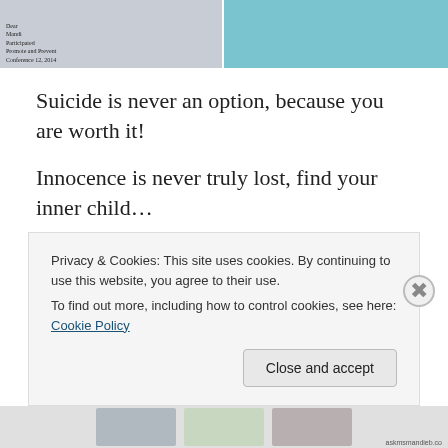[Figure (photo): Two-panel photo strip at top: left panel shows a handwritten note on blue background with small text, right panel shows a person wearing a blue/teal top]
Suicide is never an option, because you are worth it!
Innocence is never truly lost, find your inner child...
Written By:  Ask Ms Mandi
Photograph By:  Ask Ms Mandi
Privacy & Cookies: This site uses cookies. By continuing to use this website, you agree to their use.
To find out more, including how to control cookies, see here: Cookie Policy
[Figure (photo): Partial thumbnail strip at bottom of page showing three small photo thumbnails]